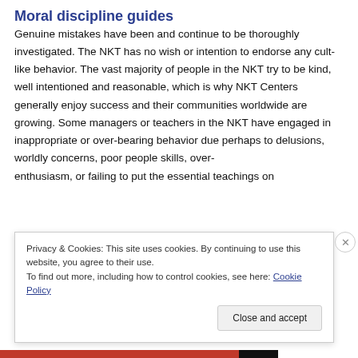Moral discipline guides
Genuine mistakes have been and continue to be thoroughly investigated. The NKT has no wish or intention to endorse any cult-like behavior. The vast majority of people in the NKT try to be kind, well intentioned and reasonable, which is why NKT Centers generally enjoy success and their communities worldwide are growing. Some managers or teachers in the NKT have engaged in inappropriate or over-bearing behavior due perhaps to delusions, worldly concerns, poor people skills, over-enthusiasm, or failing to put the essential teachings on…
Privacy & Cookies: This site uses cookies. By continuing to use this website, you agree to their use.
To find out more, including how to control cookies, see here: Cookie Policy
Close and accept